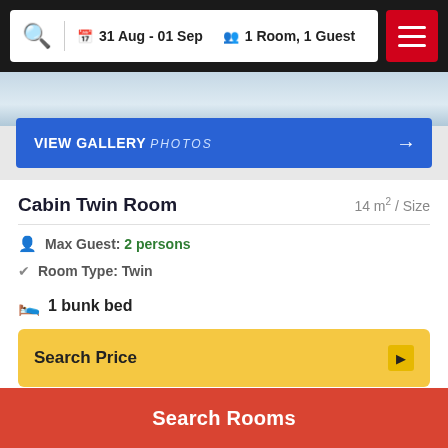31 Aug - 01 Sep | 1 Room, 1 Guest
[Figure (photo): Hotel room photo strip at top of listing]
VIEW GALLERY PHOTOS
Cabin Twin Room
14 m² / Size
Max Guest: 2 persons
Room Type: Twin
1 bunk bed
Search Price
Search Rooms